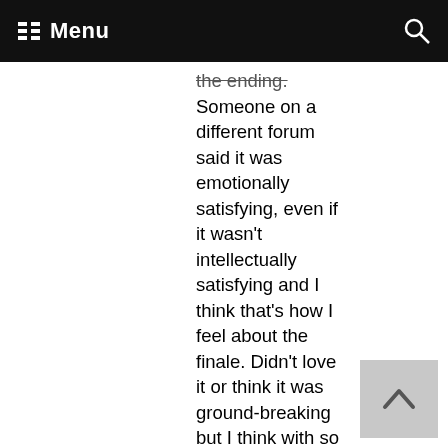Menu
the ending. Someone on a different forum said it was emotionally satisfying, even if it wasn't intellectually satisfying and I think that's how I feel about the finale. Didn't love it or think it was ground-breaking but I think with so much build-up it, they (writers, network, etc) made it really REALLY easy to set high expectations, so I